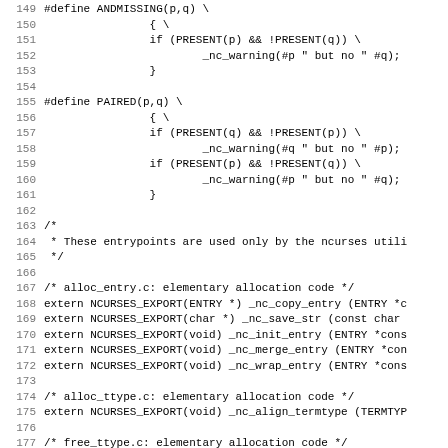[Figure (screenshot): Source code listing showing C preprocessor macros ANDMISSING and PAIRED, and extern function declarations for ncurses library allocation functions. Line numbers 149-181 are shown.]